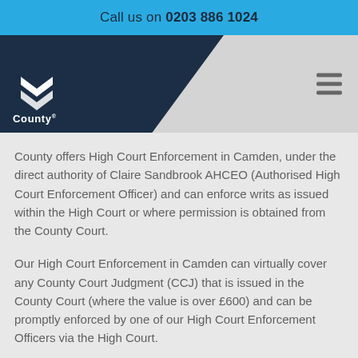Call us on 0203 886 1024
[Figure (logo): County logo with white geometric arrow/chevron icon above the word 'County' on dark navy background, with hamburger menu icon on the right]
County offers High Court Enforcement in Camden, under the direct authority of Claire Sandbrook AHCEO (Authorised High Court Enforcement Officer) and can enforce writs as issued within the High Court or where permission is obtained from the County Court.
Our High Court Enforcement in Camden can virtually cover any County Court Judgment (CCJ) that is issued in the County Court (where the value is over £600) and can be promptly enforced by one of our High Court Enforcement Officers via the High Court.